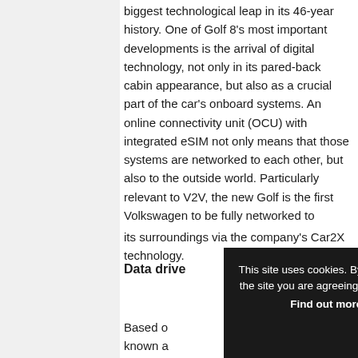The eighth-generation Golf has taken the model's biggest technological leap in its 46-year history. One of Golf 8's most important developments is the arrival of digital technology, not only in its pared-back cabin appearance, but also as a crucial part of the car's onboard systems. An online connectivity unit (OCU) with integrated eSIM not only means that those systems are networked to each other, but also to the outside world. Particularly relevant to V2V, the new Golf is the first Volkswagen to be fully networked to its surroundings via the company's Car2X technology.
Data drive
Based on... known a...
This site uses cookies. By continuing to browse the site you are agreeing to our use of cookies. Find out more here [X]